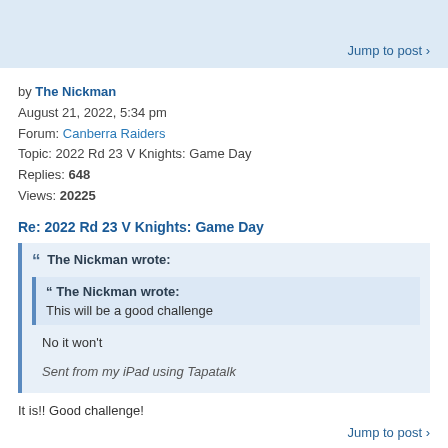Jump to post ›
by The Nickman
August 21, 2022, 5:34 pm
Forum: Canberra Raiders
Topic: 2022 Rd 23 V Knights: Game Day
Replies: 648
Views: 20225
Re: 2022 Rd 23 V Knights: Game Day
❝ The Nickman wrote:
❝ The Nickman wrote:
This will be a good challenge
No it won't
Sent from my iPad using Tapatalk
It is!! Good challenge!
Jump to post ›